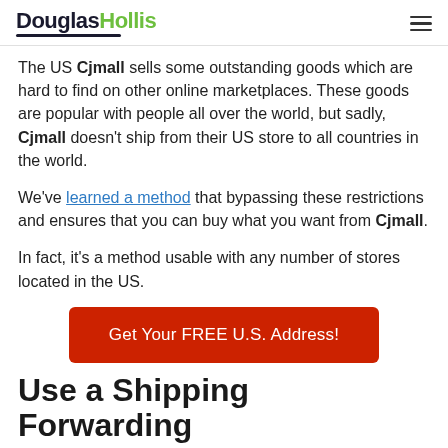DouglasHollis
The US Cjmall sells some outstanding goods which are hard to find on other online marketplaces. These goods are popular with people all over the world, but sadly, Cjmall doesn't ship from their US store to all countries in the world.
We've learned a method that bypassing these restrictions and ensures that you can buy what you want from Cjmall.
In fact, it's a method usable with any number of stores located in the US.
Get Your FREE U.S. Address!
Use a Shipping Forwarding…